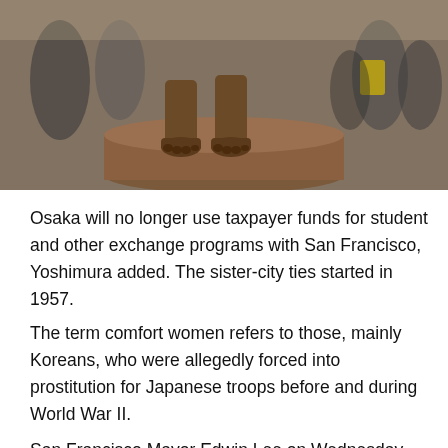[Figure (photo): A photograph showing the feet and lower legs of a bronze statue seated on a cylindrical pedestal, with crowd of people visible in the background.]
Osaka will no longer use taxpayer funds for student and other exchange programs with San Francisco, Yoshimura added. The sister-city ties started in 1957.
The term comfort women refers to those, mainly Koreans, who were allegedly forced into prostitution for Japanese troops before and during World War II.
San Francisco Mayor Edwin Lee on Wednesday decided to accept the donation of the statue, which was set up by a private group of Chinese Americans in September, so the statue is set to become a property owned by the city government.